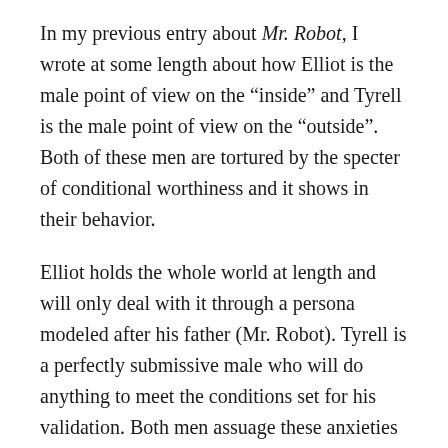In my previous entry about Mr. Robot, I wrote at some length about how Elliot is the male point of view on the “inside” and Tyrell is the male point of view on the “outside”. Both of these men are tortured by the specter of conditional worthiness and it shows in their behavior.
Elliot holds the whole world at length and will only deal with it through a persona modeled after his father (Mr. Robot). Tyrell is a perfectly submissive male who will do anything to meet the conditions set for his validation. Both men assuage these anxieties through fantasies of active prowess and capability. Tyrell constructs his appearance to either intimidate or seduce and Elliot’s skill as a hacker is the main way he experiences power over others- power that he exercises with or without